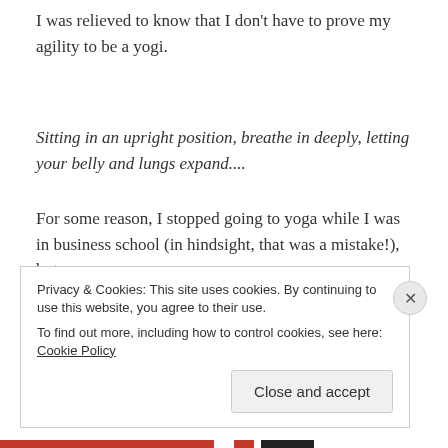I was relieved to know that I don't have to prove my agility to be a yogi.
Sitting in an upright position, breathe in deeply, letting your belly and lungs expand....
For some reason, I stopped going to yoga while I was in business school (in hindsight, that was a mistake!), but
Privacy & Cookies: This site uses cookies. By continuing to use this website, you agree to their use.
To find out more, including how to control cookies, see here: Cookie Policy
Close and accept